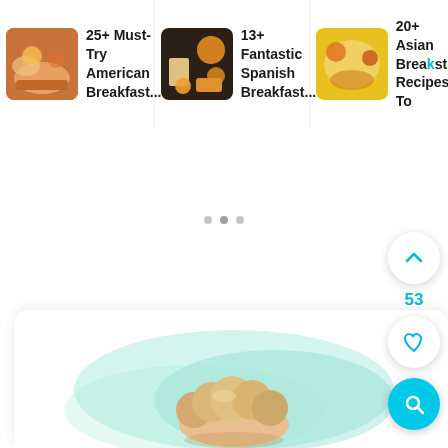[Figure (screenshot): Horizontal scrollable card strip showing food recipe thumbnails with titles: '25+ Must-Try American Breakfast...', '13+ Fantastic Spanish Breakfast...', '20+ Asian Breakfast Recipes To...']
[Figure (screenshot): White area with three pagination dots in center, floating circular buttons on right: up-chevron button, '53' count label, heart/favorite button, and cyan search button. Bottom shows a recipe card with a watercolor illustration of a bread/pastry chef character on teal background.]